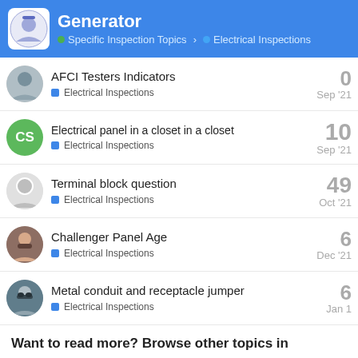Generator — Specific Inspection Topics > Electrical Inspections
AFCI Testers Indicators — Electrical Inspections — Sep '21 — 0 replies
Electrical panel in a closet in a closet — Electrical Inspections — Sep '21 — 10 replies
Terminal block question — Electrical Inspections — Oct '21 — 49 replies
Challenger Panel Age — Electrical Inspections — Dec '21 — 6 replies
Metal conduit and receptacle jumper — Electrical Inspections — Jan 1 — 6 replies
Want to read more? Browse other topics in Electrical Inspecti... or view latest topics.